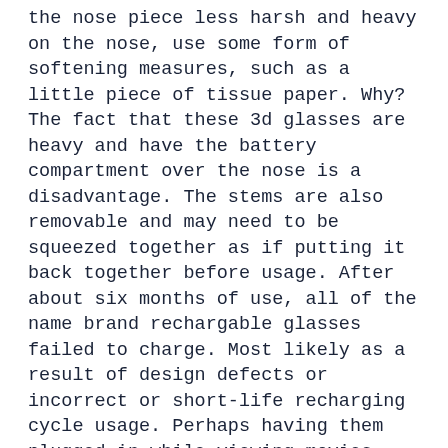the nose piece less harsh and heavy on the nose, use some form of softening measures, such as a little piece of tissue paper. Why? The fact that these 3d glasses are heavy and have the battery compartment over the nose is a disadvantage. The stems are also removable and may need to be squeezed together as if putting it back together before usage. After about six months of use, all of the name brand rechargable glasses failed to charge. Most likely as a result of design defects or incorrect or short-life recharging cycle usage. Perhaps having them plugged in while viewing movies lowered the recharging time. Perhaps the stem and inexpensive internal construction collapsed as a result of the Samsung glasses' stem slapping. When removing the stems, they would sometimes snap back together, and the G shock would destroy the NAME BRAND SAMSUNG glasses, or so it appeared. As far as I'm concerned, they never